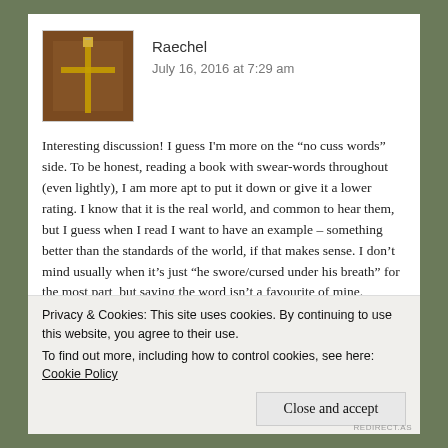[Figure (photo): Avatar photo of user Raechel showing a sword/cross-like object on a wooden background]
Raechel
July 16, 2016 at 7:29 am
Interesting discussion! I guess I'm more on the “no cuss words” side. To be honest, reading a book with swear-words throughout (even lightly), I am more apt to put it down or give it a lower rating. I know that it is the real world, and common to hear them, but I guess when I read I want to have an example – something better than the standards of the world, if that makes sense. I don’t mind usually when it’s just “he swore/cursed under his breath” for the most part, but saying the word isn’t a favourite of mine.
Privacy & Cookies: This site uses cookies. By continuing to use this website, you agree to their use.
To find out more, including how to control cookies, see here: Cookie Policy
Close and accept